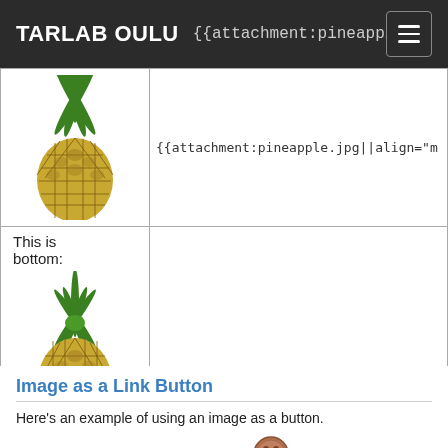TARLAB OULU   {{attachment:pineapple.jpg||align="m
| [pineapple image] | {{attachment:pineapple.jpg||align="m... |
| This is bottom:
[pineapple image] | {{attachment:pineapple.jpg||align="bo... |
Image as a Link Button
Here's an example of using an image as a button.
Or, in this case, a button as a button. [button image] As you can see from the example code, this link will open in a new window. If you don't need it to, simply